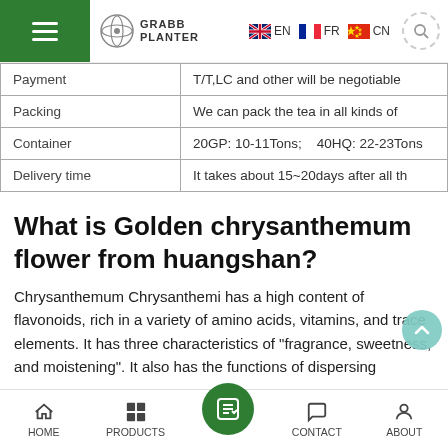GRABB PLANTER — EN FR CN navigation header
| Payment | T/T,LC and other will be negotiable |
| Packing | We can pack the tea in all kinds of |
| Container | 20GP: 10-11Tons;    40HQ: 22-23Tons |
| Delivery time | It takes about 15~20days after all th |
What is Golden chrysanthemum flower from huangshan?
Chrysanthemum Chrysanthemi has a high content of flavonoids, rich in a variety of amino acids, vitamins, and trace elements. It has three characteristics of "fragrance, sweetness, and moistening". It also has the functions of dispersing
HOME  PRODUCTS  CONTACT  ABOUT